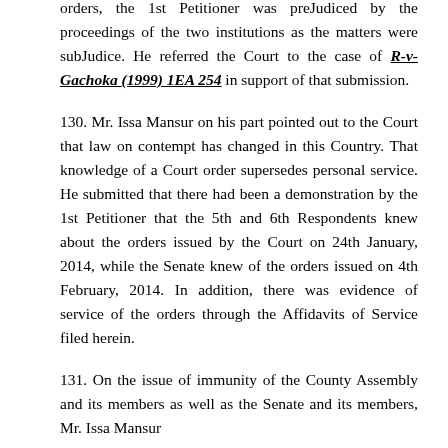orders, the 1st Petitioner was preJudiced by the proceedings of the two institutions as the matters were subJudice. He referred the Court to the case of R-v- Gachoka (1999) 1EA 254 in support of that submission.
130. Mr. Issa Mansur on his part pointed out to the Court that law on contempt has changed in this Country. That knowledge of a Court order supersedes personal service. He submitted that there had been a demonstration by the 1st Petitioner that the 5th and 6th Respondents knew about the orders issued by the Court on 24th January, 2014, while the Senate knew of the orders issued on 4th February, 2014. In addition, there was evidence of service of the orders through the Affidavits of Service filed herein.
131. On the issue of immunity of the County Assembly and its members as well as the Senate and its members, Mr. Issa Mansur